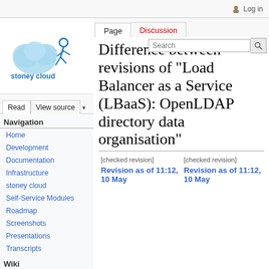Log in
[Figure (logo): Stoney Cloud logo with a cloud shape and a running figure, text 'stoney cloud' below]
Navigation
Home
Development
Documentation
Infrastructure
stoney cloud
Self-Service Modules
Roadmap
Screenshots
Presentations
Transcripts
Wiki
Difference between revisions of "Load Balancer as a Service (LBaaS): OpenLDAP directory data organisation"
| [checked revision] | [checked revision] |
| --- | --- |
| Revision as of 11:12, 10 May | Revision as of 11:12, 10 May |